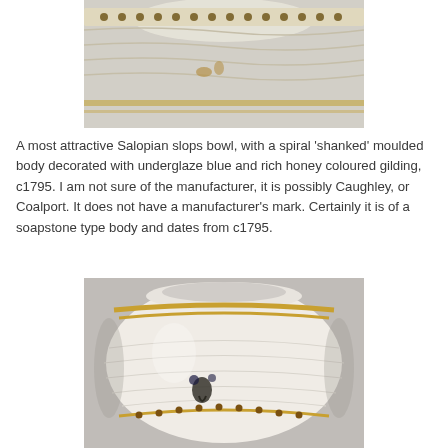[Figure (photo): Close-up of top portion of a Salopian slops bowl showing spiral shanked moulded body with underglaze blue decoration and honey coloured gilding on white porcelain background.]
A most attractive Salopian slops bowl, with a spiral 'shanked' moulded body decorated with underglaze blue and rich honey coloured gilding, c1795. I am not sure of the manufacturer, it is possibly Caughley, or Coalport. It does not have a manufacturer's mark. Certainly it is of a soapstone type body and dates from c1795.
[Figure (photo): Bottom/exterior view of the Salopian slops bowl showing the spiral shanked moulded body, gold gilding band near the rim, small floral decoration in underglaze blue, and honey coloured gilding chain pattern near the base.]